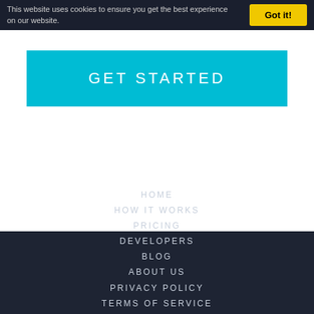This website uses cookies to ensure you get the best experience on our website.
Got it!
GET STARTED
HOME
HOW IT WORKS
PRICING
DEVELOPERS
BLOG
ABOUT US
PRIVACY POLICY
TERMS OF SERVICE